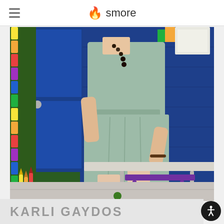smore
[Figure (photo): A woman wearing a sage green sleeveless dress sitting on a student desk in a colorful elementary school classroom. The background shows a blue cinder block wall on the right, and a colorful bulletin board with rainbow-colored decorative border and a blue door on the left. She is wearing a beaded necklace and bracelet, and tan flats.]
KARLI GAYDOS